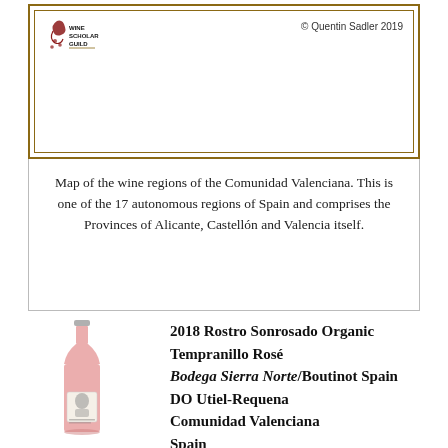[Figure (logo): Wine Scholar Guild logo with grape vine icon]
© Quentin Sadler 2019
Map of the wine regions of the Comunidad Valenciana. This is one of the 17 autonomous regions of Spain and comprises the Provinces of Alicante, Castellon and Valencia itself.
[Figure (photo): Bottle of 2018 Rostro Sonrosado Organic Tempranillo Rosé wine]
2018 Rostro Sonrosado Organic Tempranillo Rosé
Bodega Sierra Norte/Boutinot Spain
DO Utiel-Requena
Comunidad Valenciana
Spain
This part of Spain is very beautiful and bursting with good wines, although that has been something of a local secret for quite a few decades, but that secret is now out. The traditional grape of the region is called Bobal, which has been